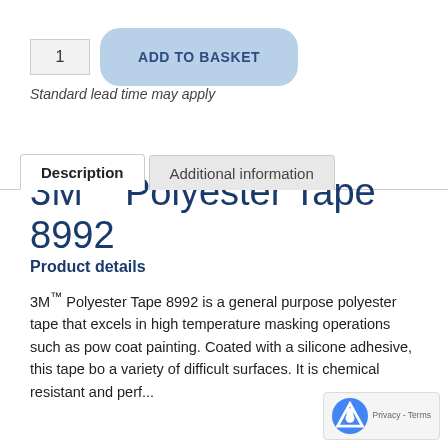[Figure (screenshot): Add to basket UI with quantity input box showing '1' and a blue rounded 'ADD TO BASKET' button]
Standard lead time may apply
[Figure (screenshot): Tab navigation showing active 'Description' tab and inactive 'Additional information' tab]
3M™ Polyester Tape 8992
Product details
3M™ Polyester Tape 8992 is a general purpose polyester tape that excels in high temperature masking operations such as pow coat painting. Coated with a silicone adhesive, this tape bo a variety of difficult surfaces. It is chemical resistant and perf...